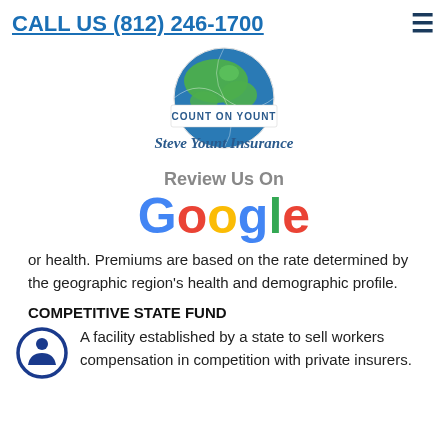CALL US (812) 246-1700
[Figure (logo): Steve Yount Insurance globe logo with green landmass and blue water, tagline COUNT ON YOUNT]
[Figure (logo): Review Us On Google logo with colorful Google letters]
or health. Premiums are based on the rate determined by the geographic region's health and demographic profile.
COMPETITIVE STATE FUND
A facility established by a state to sell workers compensation in competition with private insurers.